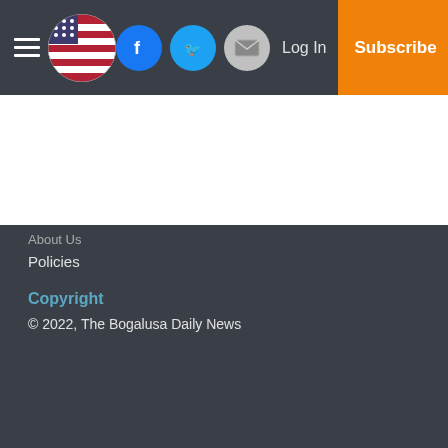Navigation bar with hamburger menu, flag logo, social icons (Facebook, Twitter, Email), Log In, Subscribe
About Us
Policies
Copyright
© 2022, The Bogalusa Daily News